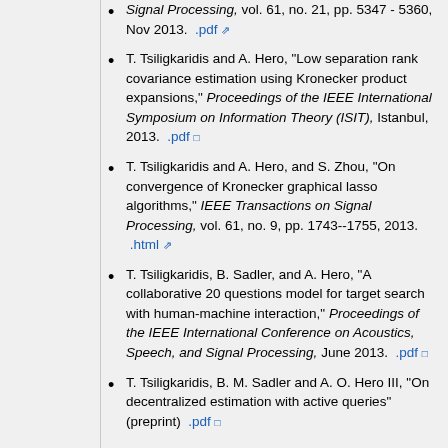Signal Processing, vol. 61, no. 21, pp. 5347 - 5360, Nov 2013. .pdf [icon]
T. Tsiligkaridis and A. Hero, "Low separation rank covariance estimation using Kronecker product expansions," Proceedings of the IEEE International Symposium on Information Theory (ISIT), Istanbul, 2013. .pdf [icon]
T. Tsiligkaridis and A. Hero, and S. Zhou, "On convergence of Kronecker graphical lasso algorithms," IEEE Transactions on Signal Processing, vol. 61, no. 9, pp. 1743--1755, 2013. .html [icon]
T. Tsiligkaridis, B. Sadler, and A. Hero, "A collaborative 20 questions model for target search with human-machine interaction," Proceedings of the IEEE International Conference on Acoustics, Speech, and Signal Processing, June 2013. .pdf [icon]
T. Tsiligkaridis, B. M. Sadler and A. O. Hero III, "On decentralized estimation with active queries" (preprint) .pdf [icon]